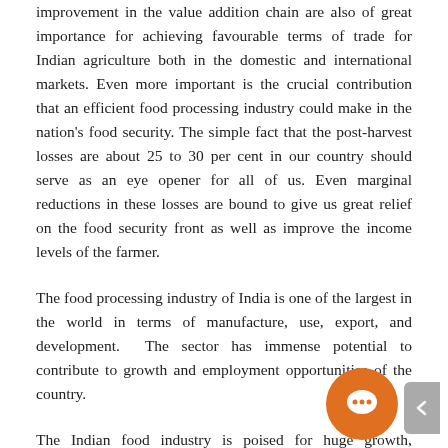improvement in the value addition chain are also of great importance for achieving favourable terms of trade for Indian agriculture both in the domestic and international markets. Even more important is the crucial contribution that an efficient food processing industry could make in the nation's food security. The simple fact that the post-harvest losses are about 25 to 30 per cent in our country should serve as an eye opener for all of us. Even marginal reductions in these losses are bound to give us great relief on the food security front as well as improve the income levels of the farmer.
The food processing industry of India is one of the largest in the world in terms of manufacture, use, export, and development.  The sector has immense potential to contribute to growth and employment opportunities of the country.
The Indian food industry is poised for huge growth, increasing its contribution in world food trade every